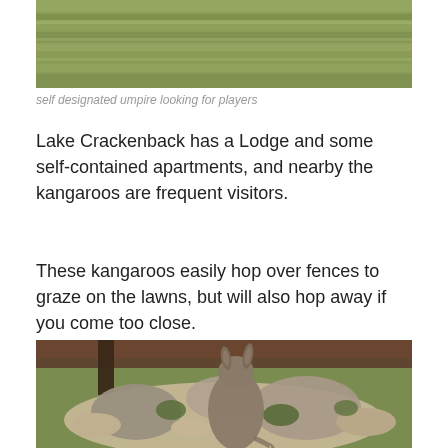[Figure (photo): Aerial or distant view of a green grassy field/lawn, cropped at top showing mostly grass texture with horizontal bands of lighter and darker green]
self designated umpire looking for players
Lake Crackenback has a Lodge and some self-contained apartments, and nearby the kangaroos are frequent visitors.
These kangaroos easily hop over fences to graze on the lawns, but will also hop away if you come too close.
[Figure (photo): A kangaroo viewed from behind, standing among a rock garden with large stones and small shrubs, with a wooden deck/fence structure visible in the background]